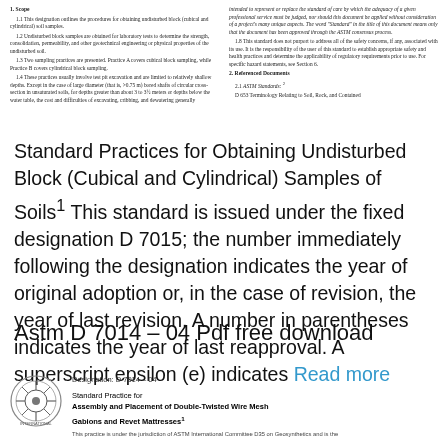[Figure (screenshot): Scanned PDF page showing two-column text with sections '1. Scope' and '2. Referenced Documents' from an ASTM standard document about obtaining undisturbed block soil samples.]
Standard Practices for Obtaining Undisturbed Block (Cubical and Cylindrical) Samples of Soils1 This standard is issued under the fixed designation D 7015; the number immediately following the designation indicates the year of original adoption or, in the case of revision, the year of last revision. A number in parentheses indicates the year of last reapproval. A superscript epsilon (e) indicates Read more
Astm D 7014 – 04 Pdf free download
[Figure (logo): ASTM International circular logo]
Designation: D 7014 – 04
Standard Practice for Assembly and Placement of Double-Twisted Wire Mesh Gabions and Revet Mattresses1